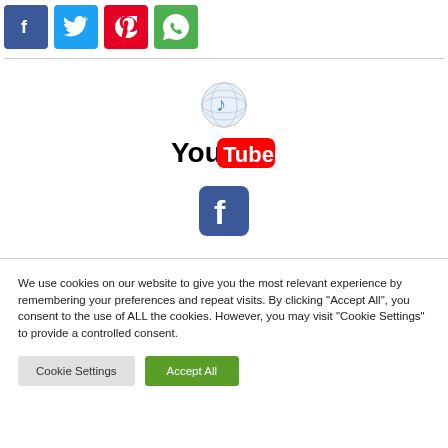[Figure (logo): Four social media share buttons: Facebook (blue), Twitter (cyan), Pinterest (red), WhatsApp (green)]
[Figure (logo): Music/iTunes style icon — globe with music note]
[Figure (logo): YouTube logo — 'You' in black text, 'Tube' in white on red rounded rectangle]
[Figure (logo): Facebook logo icon — rounded blue square with white f]
We use cookies on our website to give you the most relevant experience by remembering your preferences and repeat visits. By clicking “Accept All”, you consent to the use of ALL the cookies. However, you may visit "Cookie Settings" to provide a controlled consent.